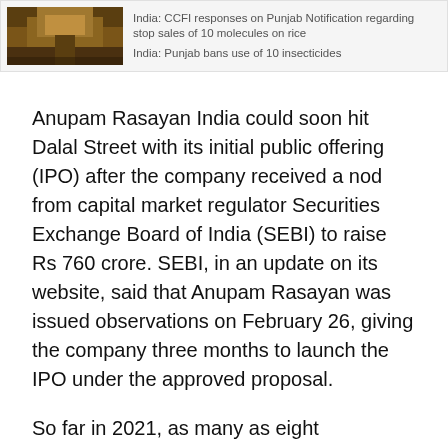[Figure (photo): Small thumbnail photo of a building with orange/golden tones, likely an Indian architectural structure]
India: CCFI responses on Punjab Notification regarding stop sales of 10 molecules on rice
India: Punjab bans use of 10 insecticides
Anupam Rasayan India could soon hit Dalal Street with its initial public offering (IPO) after the company received a nod from capital market regulator Securities Exchange Board of India (SEBI) to raise Rs 760 crore. SEBI, in an update on its website, said that Anupam Rasayan was issued observations on February 26, giving the company three months to launch the IPO under the approved proposal.
So far in 2021, as many as eight companies have launched their IPOs on Dalal Street and many more